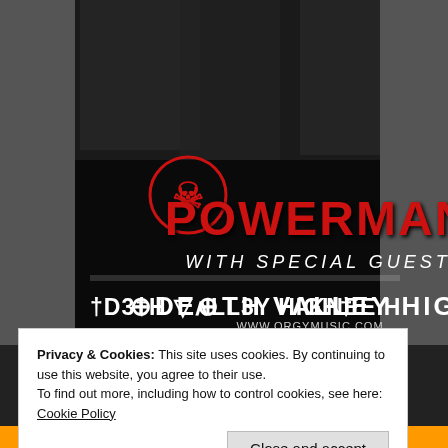[Figure (photo): Concert/band promotional poster for Powerman with special guests Death Valley High and Knee H (cut off). Black and white photo of band members in background. Red stylized text 'POWERMAN' with skull logo. White italic text 'WITH SPECIAL GUEST'. Large white stylized lettering 'DEATH VALLEY HIGH' and 'KNEE H'. Website www.orgymusic.com with social media icons (Facebook, Twitter, YouTube, MySpace).]
Privacy & Cookies: This site uses cookies. By continuing to use this website, you agree to their use.
To find out more, including how to control cookies, see here: Cookie Policy
Close and accept